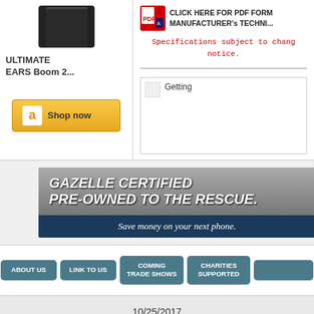[Figure (photo): Product image of ULTIMATE EARS Boom 2 speaker in dark/black color]
ULTIMATE EARS Boom 2...
[Figure (logo): Amazon Shop now button with Amazon logo]
[Figure (other): PDF icon with text: CLICK HERE FOR PDF FORM MANUFACTURER's TECHNI...]
Specifications subject to change notice.
[Figure (other): Broken image thumbnail with 'Getting' text]
[Figure (other): Gazelle Certified Pre-Owned to the Rescue. Save money on your next phone. - advertisement banner]
ABOUT US
LINK TO US
COMING TRADE SHOWS
CHARITIES SUPPORTED
10/25/2017